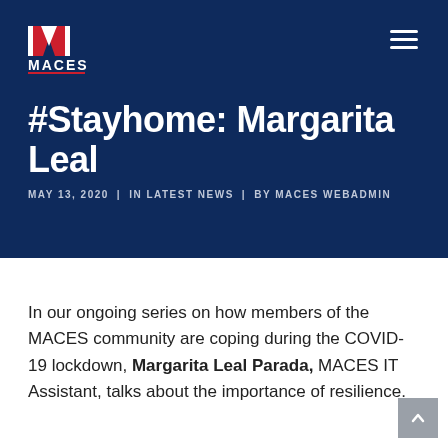[Figure (logo): MACES organization logo with stylized M icon in red and white, and MACES wordmark in white with red underline, on dark navy background]
#Stayhome: Margarita Leal
MAY 13, 2020  |  IN LATEST NEWS  |  BY MACES WEBADMIN
In our ongoing series on how members of the MACES community are coping during the COVID-19 lockdown, Margarita Leal Parada, MACES IT Assistant, talks about the importance of resilience.